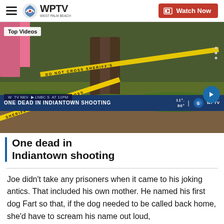WPTV West Palm Beach — Watch Now
[Figure (screenshot): News video thumbnail showing yellow crime scene tape around a tree with grass. News banner reads 'ONE DEAD IN INDIANTOWN SHOOTING'. Weather shows 11°/86°. 'Top Videos' badge in top left. Arrow button for next video.]
One dead in Indiantown shooting
Joe didn't take any prisoners when it came to his joking antics. That included his own mother. He named his first dog Fart so that, if the dog needed to be called back home, she'd have to scream his name out loud,